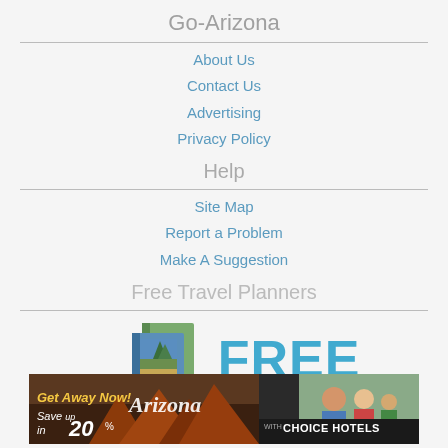Go-Arizona
About Us
Contact Us
Advertising
Privacy Policy
Help
Site Map
Report a Problem
Make A Suggestion
Free Travel Planners
[Figure (infographic): Two travel guide books next to large FREE text with 'To Your Doorstep' subtitle in teal/blue]
[Figure (infographic): Banner ad: Get Away Now! Save up to 20% with Choice Hotels - Arizona themed with red rock landscape and family photo]